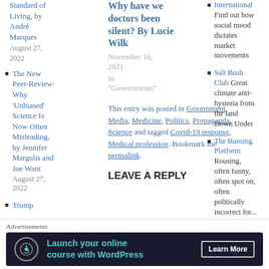Standard of Living, by André Marques August 27, 2022
The New Peer-Review: Why 'Unbiased' Science Is Now Often Misleading, by Jennifer Margulis and Joe Want August 27, 2022
Trump
Why have we doctors been silent? By Lucie Wilk
November 16, 2021
In "Governments"
This entry was posted in Government, Media, Medicine, Politics, Propaganda, Science and tagged Covid-19 response, Medical profession. Bookmark the permalink.
LEAVE A REPLY
International Find out how social mood dictates market movements
Salt Bush Club Great climate anti-hysteria from the land Down Under
The Burning Platform Rousing, often funny, often spot on, often politically incorrect for...
Advertisements
[Figure (other): Advertisement banner: Launch your online course with WordPress. Learn More button.]